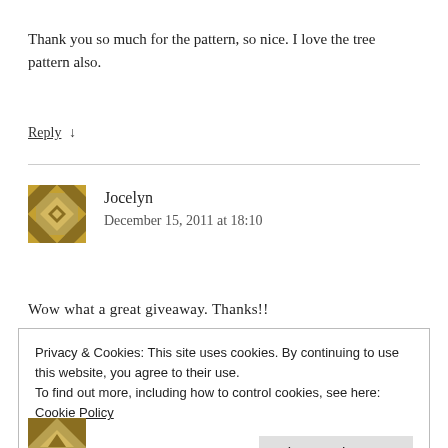Thank you so much for the pattern, so nice. I love the tree pattern also.
Reply ↓
Jocelyn
December 15, 2011 at 18:10
Wow what a great giveaway. Thanks!!
Privacy & Cookies: This site uses cookies. By continuing to use this website, you agree to their use.
To find out more, including how to control cookies, see here: Cookie Policy